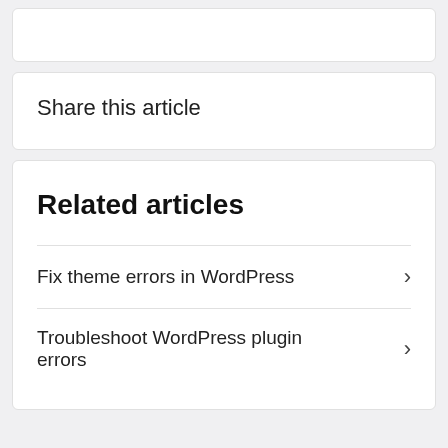Share this article
Related articles
Fix theme errors in WordPress
Troubleshoot WordPress plugin errors